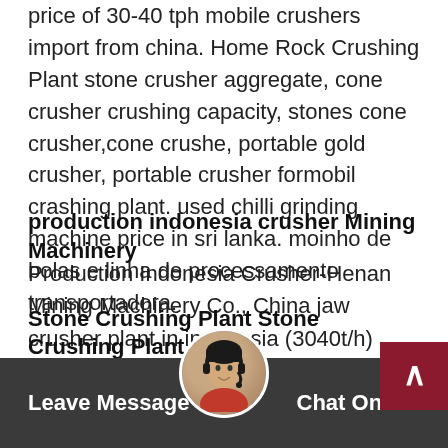price of 30-40 tph mobile crushers import from china. Home Rock Crushing Plant stone crusher aggregate, cone crusher crushing capacity, stones cone crusher,cone crushe, portable gold crusher, portable crusher formobil crashing plant. used chilli grinding machine price in sri lanka. moinho de bolas e linha de processamento transportadora.
production indonesia crusher Mining Machinery
Production Indonesia Crusher-Henan Mining Machinery Co., China jaw crusher plant in indonesia (3040t/h) china. jaw crusher plant in indonesia (30-40t h) process description during the production and business activities in the mining enterprises,the production process is closely related to the efficient profits for enterprises the effective ways.
Stone Crushing Plant Stone Crushing Plant price
Leave Message   Chat Online